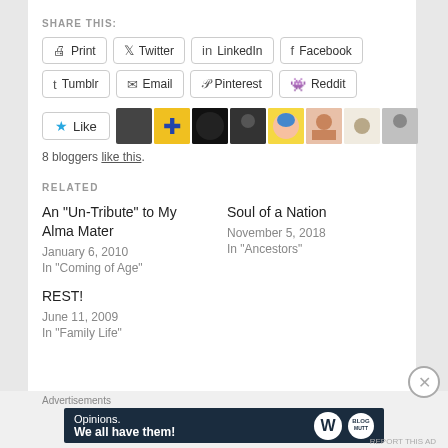SHARE THIS:
Print | Twitter | LinkedIn | Facebook
Tumblr | Email | Pinterest | Reddit
Like | [8 blogger avatars]
8 bloggers like this.
RELATED
An “Un-Tribute” to My Alma Mater
January 6, 2010
In “Coming of Age”
Soul of a Nation
November 5, 2018
In “Ancestors”
REST!
June 11, 2009
In “Family Life”
[Figure (screenshot): WordPress advertisement banner: 'Opinions. We all have them!' with WordPress and another logo on dark navy background]
Advertisements